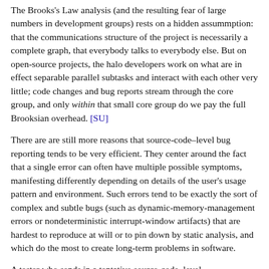The Brooks's Law analysis (and the resulting fear of large numbers in development groups) rests on a hidden assummption: that the communications structure of the project is necessarily a complete graph, that everybody talks to everybody else. But on open-source projects, the halo developers work on what are in effect separable parallel subtasks and interact with each other very little; code changes and bug reports stream through the core group, and only within that small core group do we pay the full Brooksian overhead. [SU]
There are are still more reasons that source-code–level bug reporting tends to be very efficient. They center around the fact that a single error can often have multiple possible symptoms, manifesting differently depending on details of the user's usage pattern and environment. Such errors tend to be exactly the sort of complex and subtle bugs (such as dynamic-memory-management errors or nondeterministic interrupt-window artifacts) that are hardest to reproduce at will or to pin down by static analysis, and which do the most to create long-term problems in software.
A tester who sends in a tentative source-code–level characterization of such a multi-symptom bug (e.g. "It looks to me like there's a window in the signal handling near line 1250" or "Where are you zeroing that buffer?") may give a developer, otherwise too close to the code to see it, the critical clue to a half-dozen disparate symptoms. In cases like this, it may be hard or